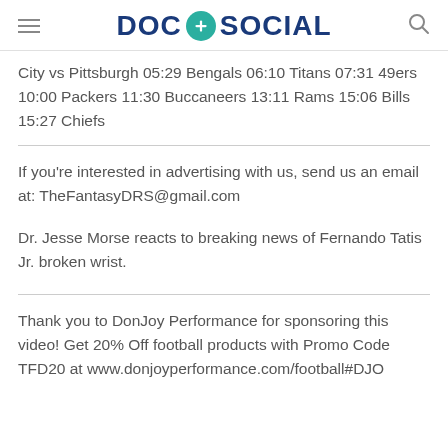DOC + SOCIAL
City vs Pittsburgh 05:29 Bengals 06:10 Titans 07:31 49ers 10:00 Packers 11:30 Buccaneers 13:11 Rams 15:06 Bills 15:27 Chiefs
If you're interested in advertising with us, send us an email at: TheFantasyDRS@gmail.com
Dr. Jesse Morse reacts to breaking news of Fernando Tatis Jr. broken wrist.
Thank you to DonJoy Performance for sponsoring this video! Get 20% Off football products with Promo Code TFD20 at www.donjoyperformance.com/football#DJO